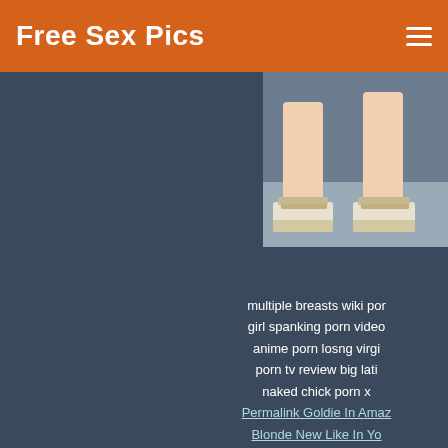Free Sex Pics
[Figure (photo): Partial view of a person's feet wearing wedge sandals, standing on a surface, cropped to show lower legs and shoes only.]
multiple breasts wiki porn girl spanking porn video anime porn losng virgi porn tv review big lati naked chick porn x
Permalink Goldie In Amaz Blonde New Like In Yo